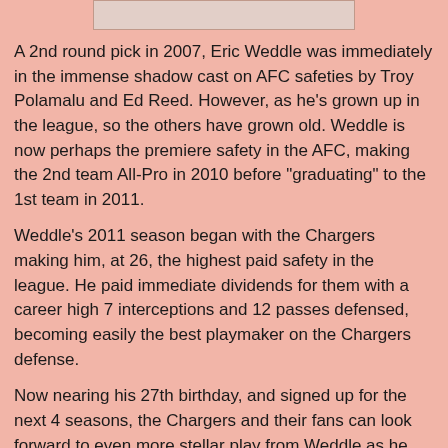[Figure (other): Partial image at top of page, cropped — light colored rectangular area]
A 2nd round pick in 2007, Eric Weddle was immediately in the immense shadow cast on AFC safeties by Troy Polamalu and Ed Reed. However, as he's grown up in the league, so the others have grown old. Weddle is now perhaps the premiere safety in the AFC, making the 2nd team All-Pro in 2010 before "graduating" to the 1st team in 2011.
Weddle's 2011 season began with the Chargers making him, at 26, the highest paid safety in the league. He paid immediate dividends for them with a career high 7 interceptions and 12 passes defensed, becoming easily the best playmaker on the Chargers defense.
Now nearing his 27th birthday, and signed up for the next 4 seasons, the Chargers and their fans can look forward to even more stellar play from Weddle as he looks to cement himself among the very best at his position.
# 78 - Brian Cushing, LB, HOU [TD = --, PG = 57, GS = 74]